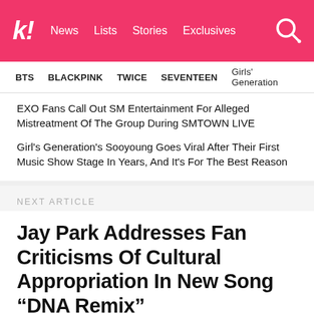k! News Lists Stories Exclusives
BTS  BLACKPINK  TWICE  SEVENTEEN  Girls' Generation
EXO Fans Call Out SM Entertainment For Alleged Mistreatment Of The Group During SMTOWN LIVE
Girl's Generation's Sooyoung Goes Viral After Their First Music Show Stage In Years, And It's For The Best Reason
NEXT ARTICLE
Jay Park Addresses Fan Criticisms Of Cultural Appropriation In New Song “DNA Remix”